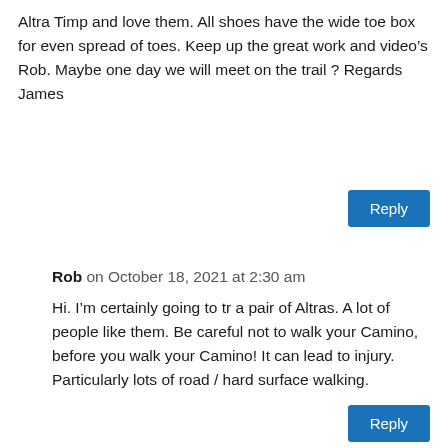Altra Timp and love them. All shoes have the wide toe box for even spread of toes. Keep up the great work and video’s Rob. Maybe one day we will meet on the trail ? Regards James
Reply
Rob on October 18, 2021 at 2:30 am
Hi. I’m certainly going to tr a pair of Altras. A lot of people like them. Be careful not to walk your Camino, before you walk your Camino! It can lead to injury. Particularly lots of road / hard surface walking.
Reply